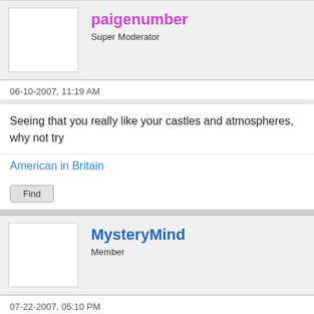paigenumber
Super Moderator
06-10-2007, 11:19 AM
Seeing that you really like your castles and atmospheres, why not try
American in Britain
Find
MysteryMind
Member
07-22-2007, 05:10 PM
She wrote mostly straight romances, but Barbara Cartland also wrote "Castle of Fear".